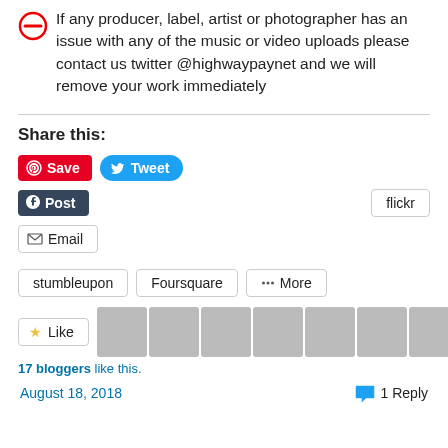If any producer, label, artist or photographer has an issue with any of the music or video uploads please contact us twitter @highwaypaynet and we will remove your work immediately
Share this:
[Figure (screenshot): Social sharing buttons: Pinterest Save, Twitter Tweet, Tumblr Post, Flickr, Email, stumbleupon, Foursquare, More]
[Figure (screenshot): Like button with star icon and row of 12 blogger avatar thumbnails]
17 bloggers like this.
August 18, 2018
1 Reply